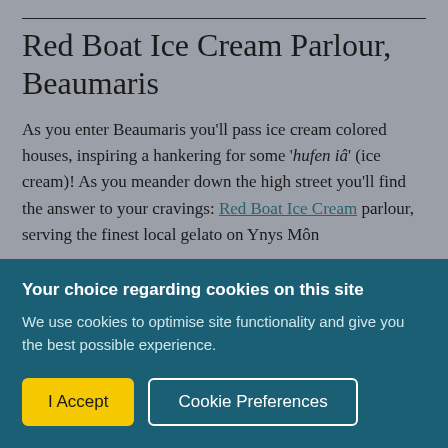Red Boat Ice Cream Parlour, Beaumaris
As you enter Beaumaris you'll pass ice cream colored houses, inspiring a hankering for some 'hufen iâ' (ice cream)! As you meander down the high street you'll find the answer to your cravings: Red Boat Ice Cream parlour, serving the finest local gelato on Ynys Môn
Your choice regarding cookies on this site
We use cookies to optimise site functionality and give you the best possible experience.
I Accept
Cookie Preferences